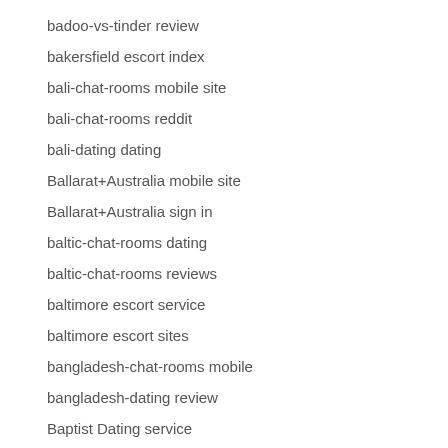badoo-vs-tinder review
bakersfield escort index
bali-chat-rooms mobile site
bali-chat-rooms reddit
bali-dating dating
Ballarat+Australia mobile site
Ballarat+Australia sign in
baltic-chat-rooms dating
baltic-chat-rooms reviews
baltimore escort service
baltimore escort sites
bangladesh-chat-rooms mobile
bangladesh-dating review
Baptist Dating service
Baptist Dating sites